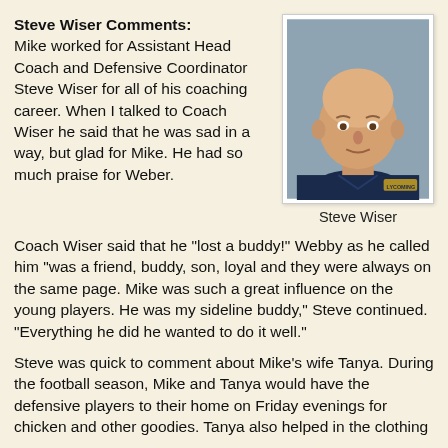Steve Wiser Comments: Mike worked for Assistant Head Coach and Defensive Coordinator Steve Wiser for all of his coaching career. When I talked to Coach Wiser he said that he was sad in a way, but glad for Mike. He had so much praise for Weber.
[Figure (photo): Headshot photo of Steve Wiser, a bald man wearing a dark navy blue Lycoming polo shirt, against a grey background.]
Steve Wiser
Coach Wiser said that he "lost a buddy!" Webby as he called him "was a friend, buddy, son, loyal and they were always on the same page. Mike was such a great influence on the young players. He was my sideline buddy," Steve continued. "Everything he did he wanted to do it well."
Steve was quick to comment about Mike's wife Tanya. During the football season, Mike and Tanya would have the defensive players to their home on Friday evenings for chicken and other goodies. Tanya also helped in the clothing